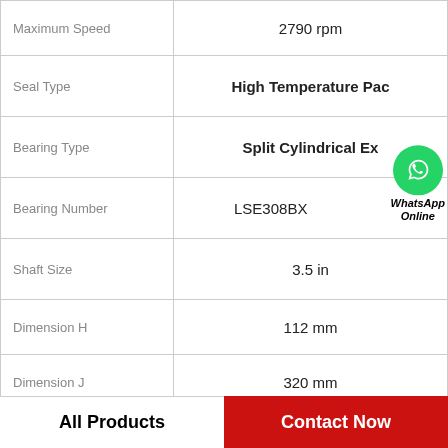| Property | Value |
| --- | --- |
| Maximum Speed | 2790 rpm |
| Seal Type | High Temperature Pac |
| Bearing Type | Split Cylindrical Ex |
| Bearing Number | LSE308BX |
| Shaft Size | 3.5 in |
| Dimension H | 112 mm |
| Dimension J | 320 mm |
| Note | This product line wa |
[Figure (logo): WhatsApp Online green circle logo with phone icon and italic bold text 'WhatsApp Online']
All Products  |  Contact Now